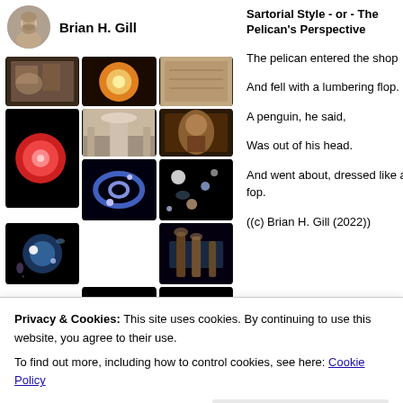Brian H. Gill
[Figure (photo): A collage/grid of astronomical and other images including nebulae, galaxies, paintings, and church interiors, associated with Brian H. Gill's profile.]
Sartorial Style - or - The Pelican's Perspective
The pelican entered the shop
And fell with a lumbering flop.
A penguin, he said,
Was out of his head.
And went about, dressed like a fop.
((c) Brian H. Gill (2022))
Privacy & Cookies: This site uses cookies. By continuing to use this website, you agree to their use.
To find out more, including how to control cookies, see here: Cookie Policy
Close and accept